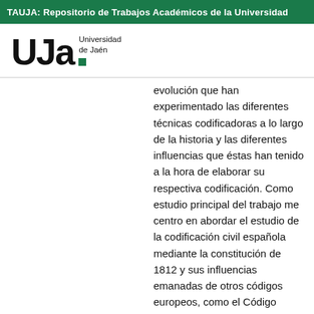TAUJA: Repositorio de Trabajos Académicos de la Universidad
[Figure (logo): UJa (Universidad de Jaén) logo with large bold letters 'UJa', a green square dot, and text 'Universidad de Jaén']
evolución que han experimentado las diferentes técnicas codificadoras a lo largo de la historia y las diferentes influencias que éstas han tenido a la hora de elaborar su respectiva codificación. Como estudio principal del trabajo me centro en abordar el estudio de la codificación civil española mediante la constitución de 1812 y sus influencias emanadas de otros códigos europeos, como el Código Francés, a la